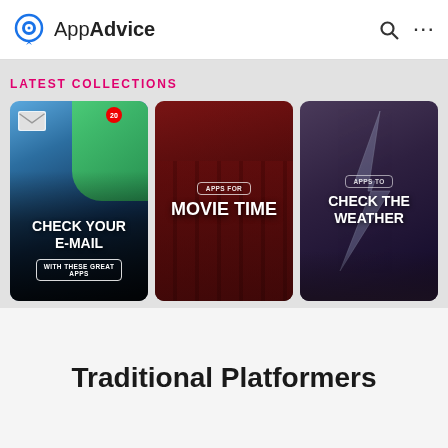AppAdvice
LATEST COLLECTIONS
[Figure (screenshot): Three app collection cards: 1) CHECK YOUR E-MAIL WITH THESE GREAT APPS, 2) APPS FOR MOVIE TIME, 3) APPS TO CHECK THE WEATHER]
Traditional Platformers